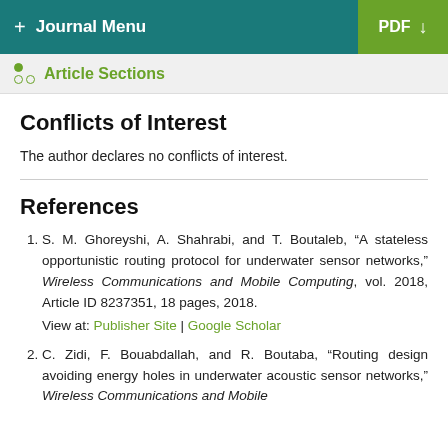+ Journal Menu | PDF
Article Sections
Conflicts of Interest
The author declares no conflicts of interest.
References
S. M. Ghoreyshi, A. Shahrabi, and T. Boutaleb, “A stateless opportunistic routing protocol for underwater sensor networks,” Wireless Communications and Mobile Computing, vol. 2018, Article ID 8237351, 18 pages, 2018.
View at: Publisher Site | Google Scholar
C. Zidi, F. Bouabdallah, and R. Boutaba, “Routing design avoiding energy holes in underwater acoustic sensor networks,” Wireless Communications and Mobile